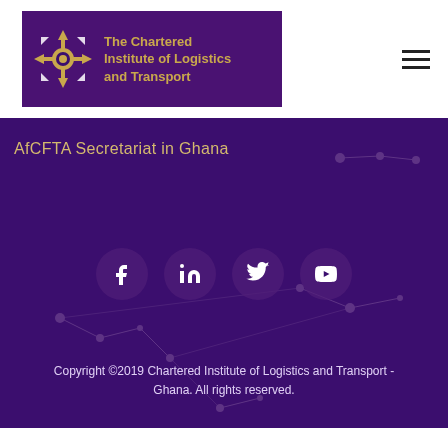[Figure (logo): The Chartered Institute of Logistics and Transport logo — purple background banner with gold compass/arrow icon and gold bold text]
[Figure (other): Hamburger menu icon (three horizontal lines) in top right corner]
AfCFTA Secretariat in Ghana
[Figure (other): Social media icons row: Facebook, LinkedIn, Twitter, YouTube — white icons on semi-transparent purple circular buttons]
Copyright ©2019 Chartered Institute of Logistics and Transport - Ghana. All rights reserved.